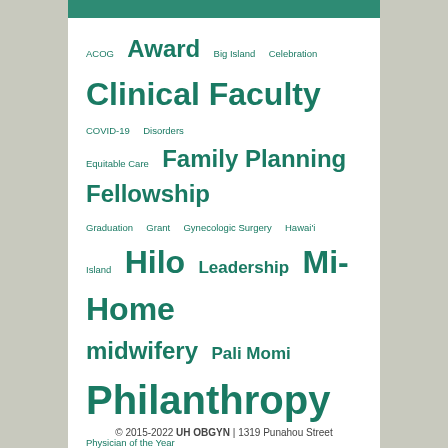[Figure (infographic): Word cloud of medical/OB-GYN related tags in teal/dark-green color on white background. Terms vary in font size indicating frequency: Philanthropy and Residency largest; Recognition, Research, Clinical Faculty, Fellowship, Family Planning, Mi-Home large; midwifery, telemedicine, Hilo, Award medium; smaller terms include ACOG, Big Island, Celebration, COVID-19, Disorders, Equitable Care, Graduation, Grant, Gynecologic Surgery, Hawai'i, Island, Leadership, Pali Momi, Physician of the Year, Promotion, Publications, Racism, Radio, Raidoo, Reunion, Samoa, Senator Kahele, Sex, Sexual Health, Teen Health, Top Doctors, Volunteer.]
© 2015-2022 UH OBGYN | 1319 Punahou Street